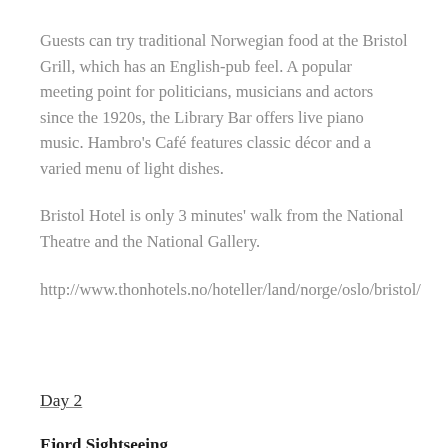Guests can try traditional Norwegian food at the Bristol Grill, which has an English-pub feel. A popular meeting point for politicians, musicians and actors since the 1920s, the Library Bar offers live piano music. Hambro’s Café features classic décor and a varied menu of light dishes.
Bristol Hotel is only 3 minutes’ walk from the National Theatre and the National Gallery.
http://www.thonhotels.no/hoteller/land/norge/oslo/bristol/
Day 2
Fjord Sightseeing